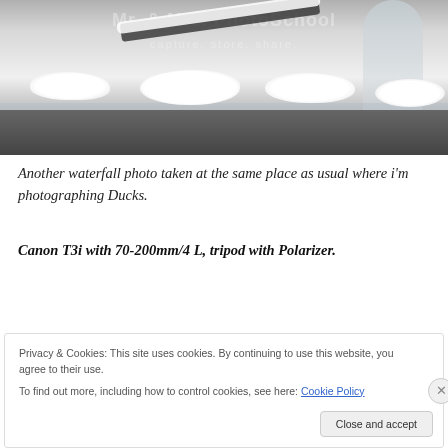[Figure (photo): Black and white photograph of a winter waterfall scene with snow-covered rocks, icy branches, and flowing water. Background shows waterfall cascading down. Watermark text visible.]
Another waterfall photo taken at the same place as usual where i'm photographing Ducks.
Canon T3i with 70-200mm/4 L, tripod with Polarizer.
Privacy & Cookies: This site uses cookies. By continuing to use this website, you agree to their use.
To find out more, including how to control cookies, see here: Cookie Policy